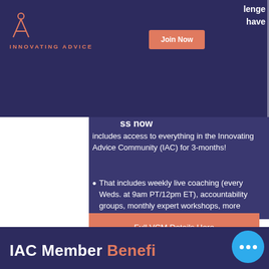INNOVATING ADVICE
ss now includes access to everything in the Innovating Advice Community (IAC) for 3-months!
That includes weekly live coaching (every Weds. at 9am PT/12pm ET), accountability groups, monthly expert workshops, more support and collaboration throughout
Full VCM Details Here
IAC Member Benefits